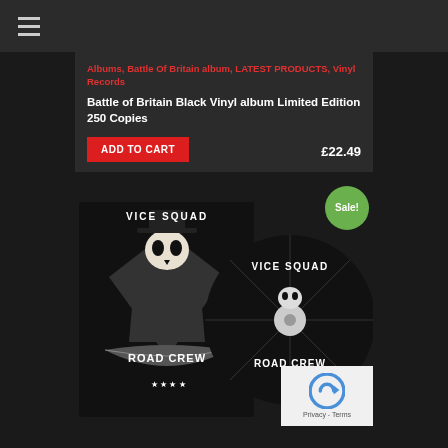☰ (menu icon)
Albums, Battle Of Britain album, LATEST PRODUCTS, Vinyl Records
Battle of Britain Black Vinyl album Limited Edition 250 Copies
ADD TO CART
£22.49
[Figure (photo): Vice Squad Road Crew album art showing a skull character in a cowboy hat and jacket with 'Road Crew' banner, alongside a CD disc with the same Vice Squad Road Crew branding on a black background. Green 'Sale!' badge in top right corner.]